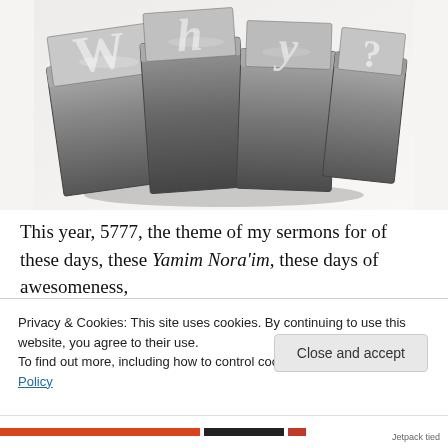[Figure (photo): Photograph of metal letterpress type blocks spelling 'Why?' on a white background, photographed at an angle showing the 3D relief of the metal type.]
This year, 5777, the theme of my sermons for of these days, these Yamim Nora'im, these days of awesomeness,
Privacy & Cookies: This site uses cookies. By continuing to use this website, you agree to their use.
To find out more, including how to control cookies, see here: Cookie Policy
Close and accept